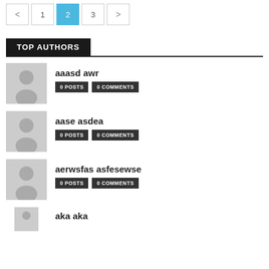< 1 2 3 >
TOP AUTHORS
aaasd awr — 0 POSTS, 0 COMMENTS
aase asdea — 0 POSTS, 0 COMMENTS
aerwsfas asfesewse — 0 POSTS, 0 COMMENTS
aka aka